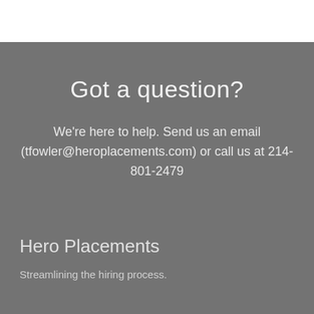Got a question?
We're here to help. Send us an email (tfowler@heroplacements.com) or call us at 214-801-2479
Hero Placements
Streamlining the hiring process.